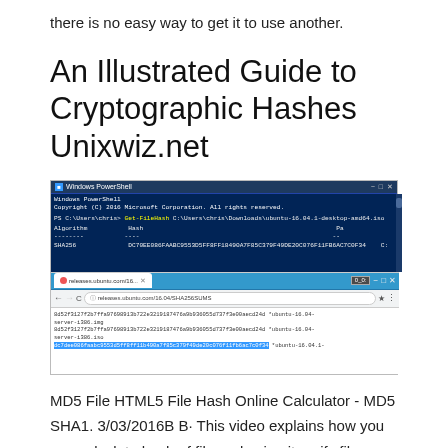there is no easy way to get it to use another.
An Illustrated Guide to Cryptographic Hashes Unixwiz.net
[Figure (screenshot): Screenshot showing Windows PowerShell with Get-FileHash command output for ubuntu-16.04.1-desktop-amd64.iso showing SHA256 hash, and a Google Chrome browser window showing releases.ubuntu.com/16.04/SHA256SUMS page with matching hash highlighted.]
MD5 File HTML5 File Hash Online Calculator - MD5 SHA1. 3/03/2016B B· This video explains how you can calculate hash of file and using it verify file integrity. Choose from a dozen of hash functions including CRC, MD5, SHA256,